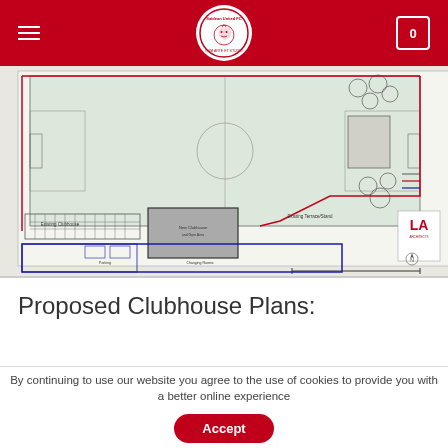Saldean United FC navigation bar with logo, hamburger menu, and cart icon
[Figure (engineering-diagram): Architectural site plan / engineering diagram showing proposed clubhouse layout with football pitch, parking areas, new clubhouse building, and surrounding landscape features. Red and blue lines indicate boundaries and routes. LA architects branding visible in bottom right corner.]
Proposed Clubhouse Plans:
By continuing to use our website you agree to the use of cookies to provide you with a better online experience
Accept